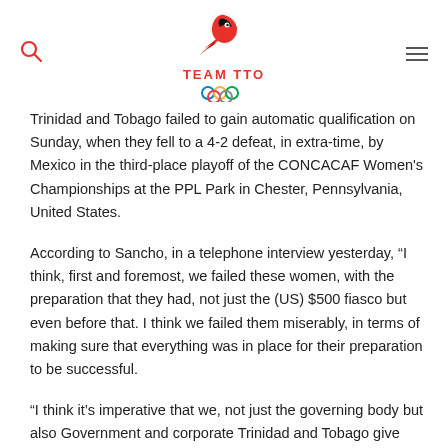TEAM TTO
Trinidad and Tobago failed to gain automatic qualification on Sunday, when they fell to a 4-2 defeat, in extra-time, by Mexico in the third-place playoff of the CONCACAF Women's Championships at the PPL Park in Chester, Pennsylvania, United States.
According to Sancho, in a telephone interview yesterday, “I think, first and foremost, we failed these women, with the preparation that they had, not just the (US) $500 fiasco but even before that. I think we failed them miserably, in terms of making sure that everything was in place for their preparation to be successful.
“I think it’s imperative that we, not just the governing body but also Government and corporate Trinidad and Tobago give priority to these bunch of girls (for them to qualify) to the World Cup by